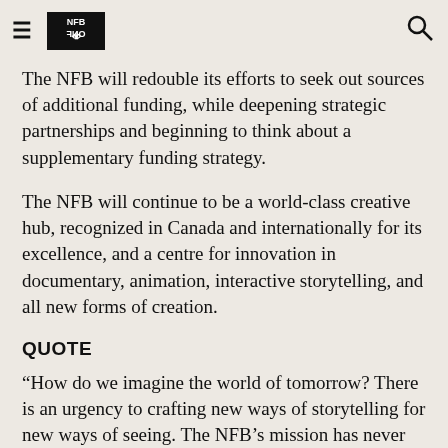≡ NFB logo 🔍
The NFB will redouble its efforts to seek out sources of additional funding, while deepening strategic partnerships and beginning to think about a supplementary funding strategy.
The NFB will continue to be a world-class creative hub, recognized in Canada and internationally for its excellence, and a centre for innovation in documentary, animation, interactive storytelling, and all new forms of creation.
QUOTE
“How do we imagine the world of tomorrow? There is an urgency to crafting new ways of storytelling for new ways of seeing. The NFB’s mission has never been as relevant. The 2020-2023 Strategic Plan aims to ensure that in the